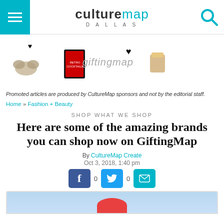culturemap DALLAS
[Figure (illustration): GiftingMap promotional banner with product images including bow tie, cocktail book, drink, feather earrings, heart icons, leather bag, and the text 'giftingmap']
Promoted articles are produced by CultureMap sponsors and not by the editorial staff.
Home » Fashion + Beauty
SHOP WHAT WE SHOP
Here are some of the amazing brands you can shop now on GiftingMap
By CultureMap Create
Oct 3, 2018, 1:40 pm
[Figure (screenshot): Social share buttons: Facebook (0), Twitter (0), Email]